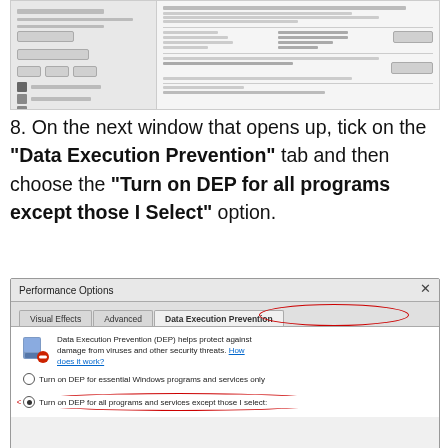[Figure (screenshot): Windows Settings or System Properties screenshot showing two panels — left panel with options and right panel with system information]
8. On the next window that opens up, tick on the "Data Execution Prevention" tab and then choose the "Turn on DEP for all programs except those I Select" option.
[Figure (screenshot): Performance Options dialog with tabs: Visual Effects, Advanced, Data Execution Prevention (circled in red). Body shows DEP description, radio button for 'Turn on DEP for essential Windows programs and services only', and selected radio button for 'Turn on DEP for all programs and services except those I select:' (circled in red).]